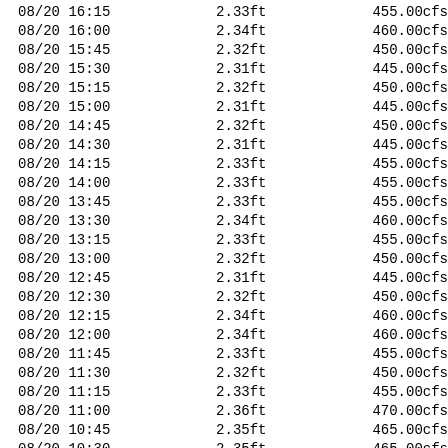| 08/20 16:15 | 2.33ft | 455.00cfs |
| 08/20 16:00 | 2.34ft | 460.00cfs |
| 08/20 15:45 | 2.32ft | 450.00cfs |
| 08/20 15:30 | 2.31ft | 445.00cfs |
| 08/20 15:15 | 2.32ft | 450.00cfs |
| 08/20 15:00 | 2.31ft | 445.00cfs |
| 08/20 14:45 | 2.32ft | 450.00cfs |
| 08/20 14:30 | 2.31ft | 445.00cfs |
| 08/20 14:15 | 2.33ft | 455.00cfs |
| 08/20 14:00 | 2.33ft | 455.00cfs |
| 08/20 13:45 | 2.33ft | 455.00cfs |
| 08/20 13:30 | 2.34ft | 460.00cfs |
| 08/20 13:15 | 2.33ft | 455.00cfs |
| 08/20 13:00 | 2.32ft | 450.00cfs |
| 08/20 12:45 | 2.31ft | 445.00cfs |
| 08/20 12:30 | 2.32ft | 450.00cfs |
| 08/20 12:15 | 2.34ft | 460.00cfs |
| 08/20 12:00 | 2.34ft | 460.00cfs |
| 08/20 11:45 | 2.33ft | 455.00cfs |
| 08/20 11:30 | 2.32ft | 450.00cfs |
| 08/20 11:15 | 2.33ft | 455.00cfs |
| 08/20 11:00 | 2.36ft | 470.00cfs |
| 08/20 10:45 | 2.35ft | 465.00cfs |
| 08/20 10:30 | 2.35ft | 465.00cfs |